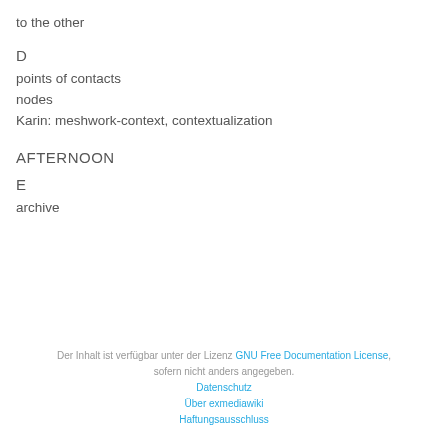to the other
D
points of contacts
nodes
Karin: meshwork-context, contextualization
AFTERNOON
E
archive
Der Inhalt ist verfügbar unter der Lizenz GNU Free Documentation License, sofern nicht anders angegeben. Datenschutz Über exmediawiki Haftungsausschluss